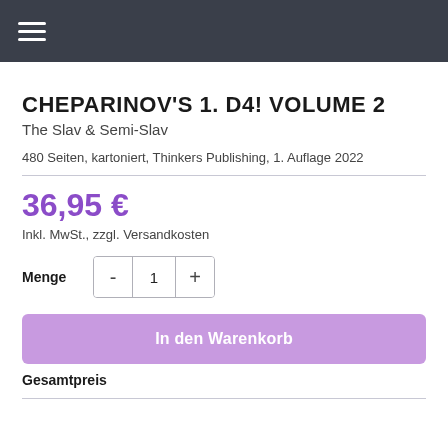≡
CHEPARINOV'S 1. D4! VOLUME 2
The Slav & Semi-Slav
480 Seiten, kartoniert, Thinkers Publishing, 1. Auflage 2022
36,95 €
Inkl. MwSt., zzgl. Versandkosten
Menge  -  1  +
In den Warenkorb
Gesamtpreis